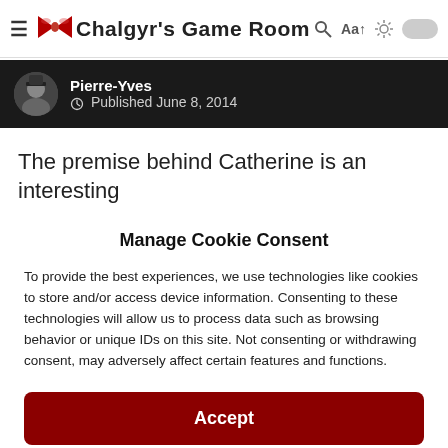Chalgyr's Game Room
Pierre-Yves · Published June 8, 2014
The premise behind Catherine is an interesting
Manage Cookie Consent
To provide the best experiences, we use technologies like cookies to store and/or access device information. Consenting to these technologies will allow us to process data such as browsing behavior or unique IDs on this site. Not consenting or withdrawing consent, may adversely affect certain features and functions.
Accept
Cookie Policy  Privacy Statement